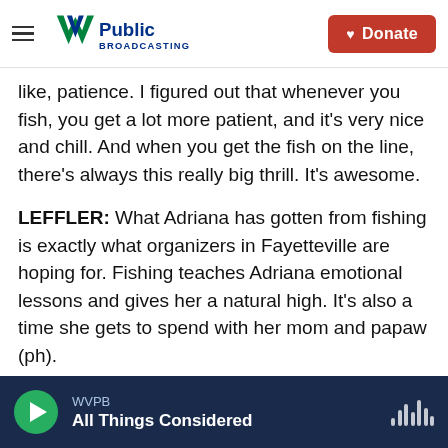WV Public Broadcasting | Donate
like, patience. I figured out that whenever you fish, you get a lot more patient, and it's very nice and chill. And when you get the fish on the line, there's always this really big thrill. It's awesome.
LEFFLER: What Adriana has gotten from fishing is exactly what organizers in Fayetteville are hoping for. Fishing teaches Adriana emotional lessons and gives her a natural high. It's also a time she gets to spend with her mom and papaw (ph).
Researchers say such activities made a big difference in Iceland, where the percentage of
WVPB — All Things Considered